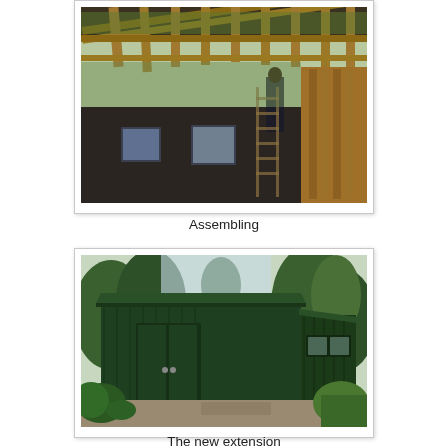[Figure (photo): Construction photo showing wooden roof beams/rafters being assembled from inside, with workers on ladders visible through the structure, dark wall panels below]
Assembling
[Figure (photo): Exterior photo of a completed dark green painted wooden shed/extension building with double doors, set in a garden with trees and bushes in the background]
The new extension